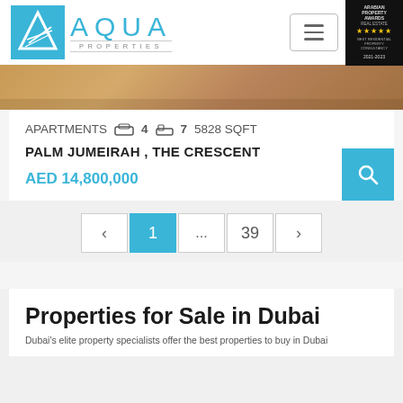AQUA PROPERTIES
[Figure (photo): Interior photo strip showing warm-toned room decor]
APARTMENTS  4  7  5828 SQFT
PALM JUMEIRAH , THE CRESCENT
AED 14,800,000
< 1 ... 39 >
Properties for Sale in Dubai
Dubai's elite property specialists offer the best...